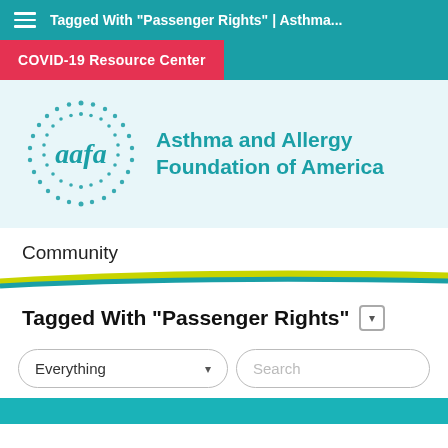Tagged With "Passenger Rights" | Asthma...
COVID-19 Resource Center
[Figure (logo): AAFA logo with dotted circle and 'aafa' text beside 'Asthma and Allergy Foundation of America']
Community
Tagged With "Passenger Rights"
Everything
Search